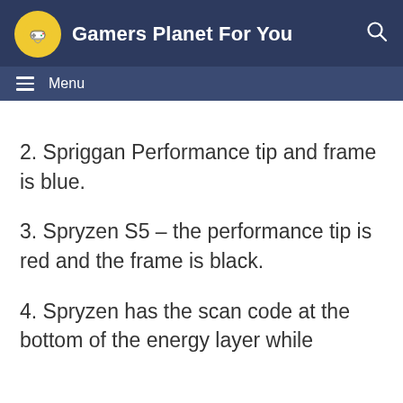Gamers Planet For You
2. Spriggan Performance tip and frame is blue.
3. Spryzen S5 – the performance tip is red and the frame is black.
4. Spryzen has the scan code at the bottom of the energy layer while